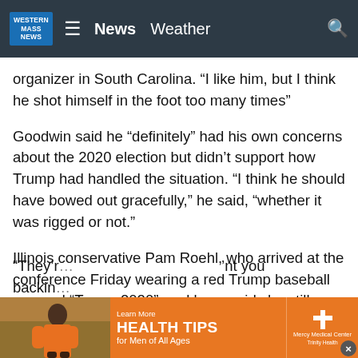WESTERN MASS NEWS  ☰  News  Weather  🔍
organizer in South Carolina. “I like him, but I think he shot himself in the foot too many times”
Goodwin said he “definitely” had his own concerns about the 2020 election but didn’t support how Trump had handled the situation. “I think he should have bowed out gracefully,” he said, “whether it was rigged or not.”
Illinois conservative Pam Roehl, who arrived at the conference Friday wearing a red Trump baseball cap and “Trump 2020” necklace, said she still supports the former president, but increasingly finds herself in the minority among friends who have moved on, discarding their bumper stickers and embracing DeSantis.
“They’r… ’nt you backing…
[Figure (infographic): Advertisement banner: Health Tips for Men of All Ages, Mercy Medical Center Trinity Health, with orange background and photo of person in orange shirt]